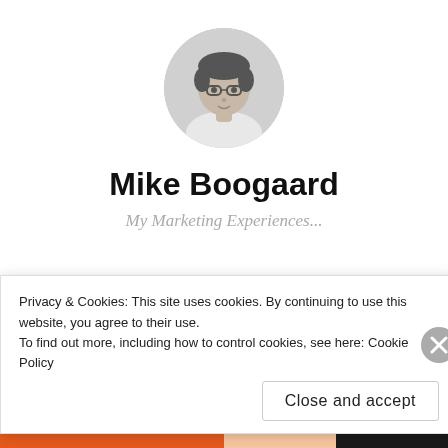[Figure (photo): Circular profile photo of Mike Boogaard, a man with glasses, black and white photo]
Mike Boogaard
My Marketing Experiences...
Category: Account
Privacy & Cookies: This site uses cookies. By continuing to use this website, you agree to their use.
To find out more, including how to control cookies, see here: Cookie Policy
Close and accept